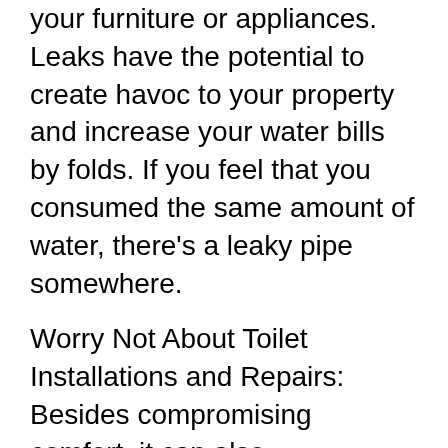your furniture or appliances. Leaks have the potential to create havoc to your property and increase your water bills by folds. If you feel that you consumed the same amount of water, there's a leaky pipe somewhere.
Worry Not About Toilet Installations and Repairs: Besides compromising comfort, it can also compromise your health, more so if the problem occurs in your home. The common sign is the odor coming from a gas leak in the sewage or clogged toilet. One of the worst things that can happen in the home, workplace, or any establishment, for that matter, is when a toilet breaks down. Call us and we will have our plumbers assess the situation, and if we find your toilet broken beyond repair, we will advise you to